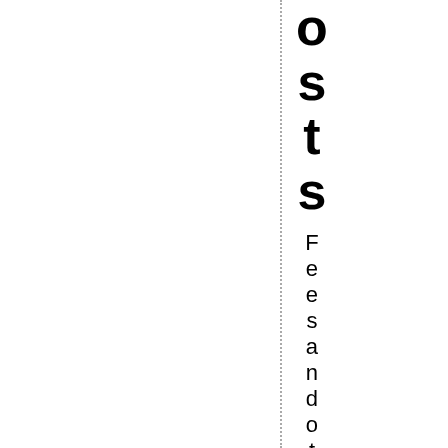osts
Fees and other required pa